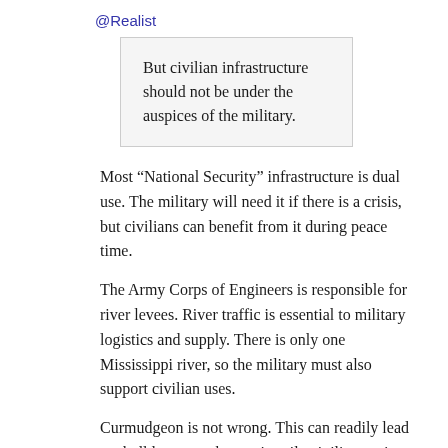@Realist
But civilian infrastructure should not be under the auspices of the military.
Most “National Security” infrastructure is dual use. The military will need it if there is a crisis, but civilians can benefit from it during peace time.
The Army Corps of Engineers is responsible for river levees. River traffic is essential to military logistics and supply. There is only one Mississippi river, so the military must also support civilian uses.
Curmudgeon is not wrong. This can readily lead to skullduggery where primarily civilian projects are given a military priority. However, the other options are likely worse. Competing civilian agencies are well known for creating “foul synergy” and unintended negative consequences.